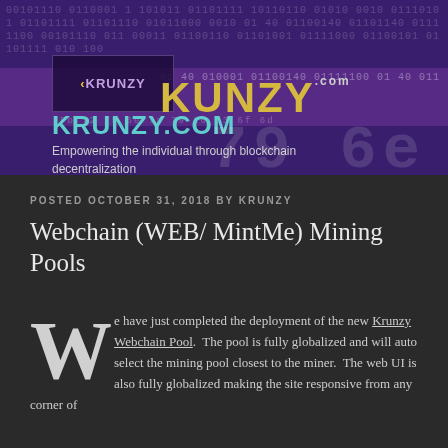KRUNZY.COM — Empowering the individual through blockchain decentralization
POSTED OCTOBER 31, 2018 BY KRUNZY
Webchain (WEB/ MintMe) Mining Pools
We have just completed the deployment of the new Krunzy Webchain Pool. The pool is fully globalized and will auto select the mining pool closest to the miner. The web UI is also fully globalized making the site responsive from any corner of